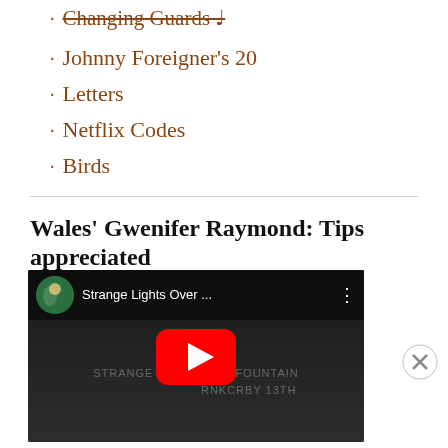Changing Guards ♩
Johnny Foreigner's 20
Letters
Netflix Codes
Birds
Wales' Gwenifer Raymond: Tips appreciated
[Figure (screenshot): YouTube video embed showing 'Strange Lights Over ...' video with play button]
Advertisements